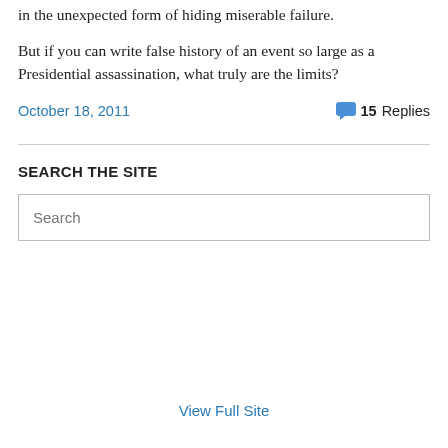in the unexpected form of hiding miserable failure.
But if you can write false history of an event so large as a Presidential assassination, what truly are the limits?
October 18, 2011   💬 15 Replies
SEARCH THE SITE
Search
View Full Site